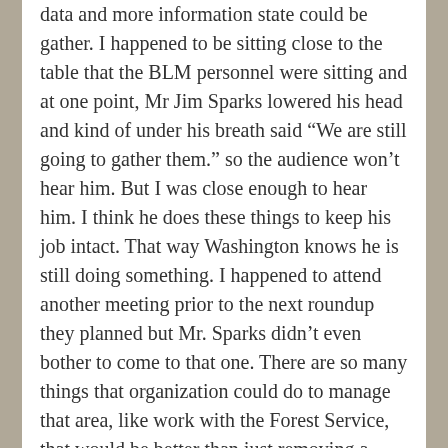data and more information state could be gather. I happened to be sitting close to the table that the BLM personnel were sitting and at one point, Mr Jim Sparks lowered his head and kind of under his breath said “We are still going to gather them.” so the audience won’t hear him. But I was close enough to hear him. I think he does these things to keep his job intact. That way Washington knows he is still doing something. I happened to attend another meeting prior to the next roundup they planned but Mr. Sparks didn’t even bother to come to that one. There are so many things that organization could do to manage that area, like work with the Forest Service, that would be better than just removing a bunch whenever they feel like it.
Like
LOG IN TO REPLY